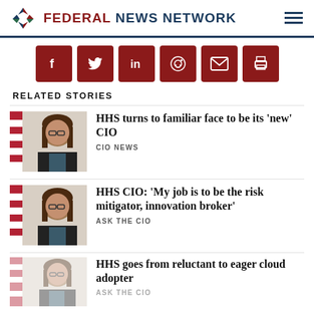FEDERAL NEWS NETWORK
[Figure (infographic): Social sharing buttons: Facebook, Twitter, LinkedIn, Reddit, Email, Print]
RELATED STORIES
[Figure (photo): Headshot of woman with glasses in dark jacket, American flag in background]
HHS turns to familiar face to be its ‘new’ CIO
CIO NEWS
[Figure (photo): Headshot of same woman with glasses in dark jacket, American flag in background]
HHS CIO: ‘My job is to be the risk mitigator, innovation broker’
ASK THE CIO
[Figure (photo): Headshot of same woman, partially faded/transparent]
HHS goes from reluctant to eager cloud adopter
ASK THE CIO